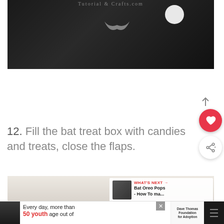[Figure (photo): Close-up of a black felt bat treat box showing the face detail with a crescent smile shape in grey/silver and a white circular element, photographed on a light wooden surface]
12. Fill the bat treat box with candies and treats, close the flaps.
[Figure (photo): Bottom portion of a photo showing a fluffy white surface, with a 'WHAT'S NEXT' promo card showing 'Bat Oreo Pops - How To ma...' with a thumbnail image]
[Figure (infographic): Advertisement banner: 'Every day, more than 50 youth age out of' with Dave Thomas Foundation for Adoption logo, flanked by a woman's photo on left and a dark icon panel on right]